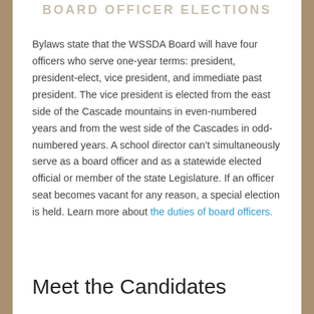BOARD OFFICER ELECTIONS
Bylaws state that the WSSDA Board will have four officers who serve one-year terms: president, president-elect, vice president, and immediate past president. The vice president is elected from the east side of the Cascade mountains in even-numbered years and from the west side of the Cascades in odd-numbered years. A school director can't simultaneously serve as a board officer and as a statewide elected official or member of the state Legislature. If an officer seat becomes vacant for any reason, a special election is held. Learn more about the duties of board officers.
Meet the Candidates